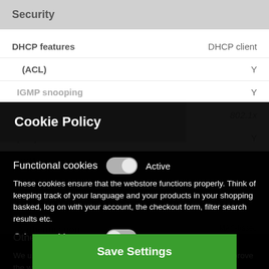Security
DHCP features	DHCP client
(ACL)	Y
IGMP snooping	Y
Security algorithms	802.1x
Cookie Policy
Functional cookies  Active
These cookies ensure that the webstore functions properly. Think of keeping track of your language and your products in your shopping basked, log on with your account, the checkout form, filter search results etc.
SSH/SSL support	Y
Other cookies  Inactive
Loop protection	Y
We use analytical and tracking cookies to see how we can improve the webstore and how we can adapt content and potential advertisements to your preference.
Prior intrusion protection
Authentication	MAC-based authenticatio Port-based authentic ation
Save Settings